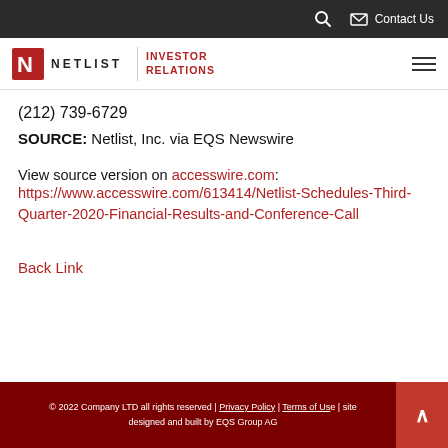Netlist INVESTOR RELATIONS | Contact Us
(212) 739-6729
SOURCE: Netlist, Inc. via EQS Newswire
View source version on accesswire.com: https://www.accesswire.com/613414/Netlist-Schedules-Third-Quarter-2020-Financial-Results-and-Conference-Call
Back Link
© 2022 Company LTD all rights reserved | Privacy Policy | Terms of Use | site designed and built by EQS Group AG